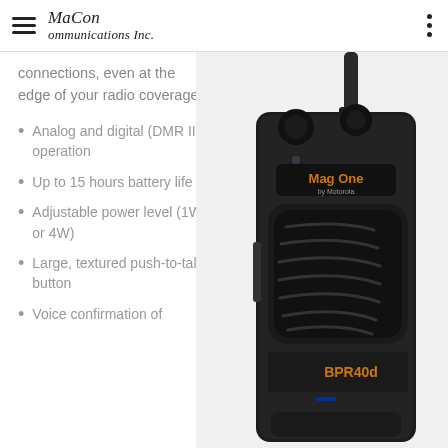Macon Communications Inc.
connections, even at the edge of your radio coverage.
Analog and digital (DMR II) operation
Up to 15 hours battery life
Adjustable power level (1W or 4W)
Large, textured push-to-talk button
Voice confirmation of battery level
[Figure (photo): Motorola Mag One BPR40d two-way radio (walkie-talkie), black, showing front view with speaker grille, volume knob, channel selector knob, antenna, PTT button, and orange BPR40d branding label. Mag One by Motorola logo visible on the radio body.]